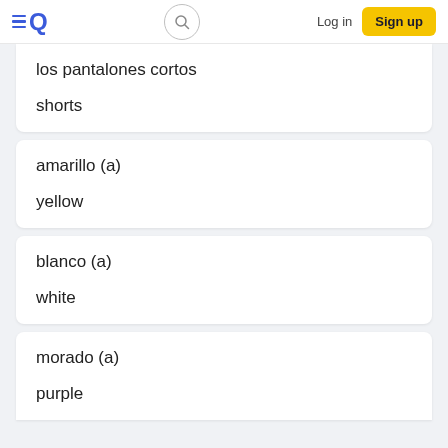Log in  Sign up
los pantalones cortos
shorts
amarillo (a)
yellow
blanco (a)
white
morado (a)
purple